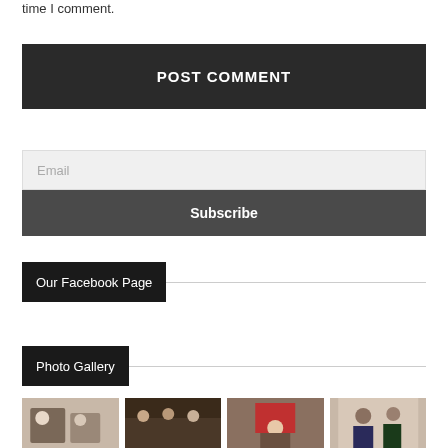time I comment.
POST COMMENT
Email
Subscribe
Our Facebook Page
Photo Gallery
[Figure (photo): Four small thumbnail photos of people at events]
[Figure (photo): Group photo at an indoor gathering]
[Figure (photo): Crowd at a formal event]
[Figure (photo): Two people at a meeting]
[Figure (photo): Man in suit standing indoors]